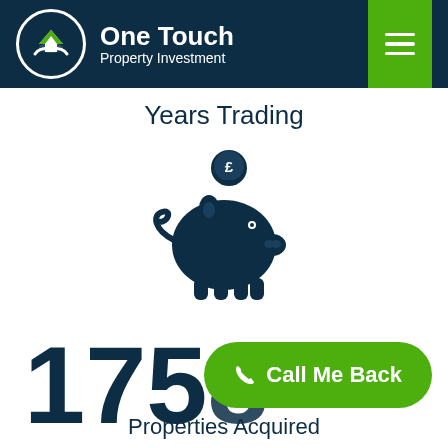[Figure (logo): One Touch Property Investment logo with circular icon showing house/hand graphic]
Years Trading
[Figure (illustration): Dark navy piggy bank icon with a pound coin being inserted on top]
1758
Call Me Back
Properties Acquired